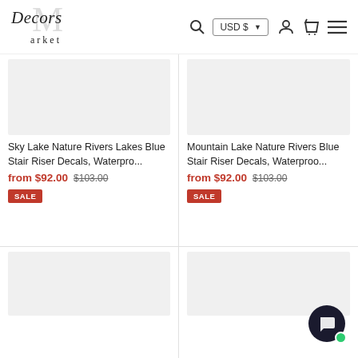[Figure (logo): Decors Market logo with script font and large M watermark]
USD $ ▾
[Figure (infographic): Search icon, user icon, cart icon, hamburger menu icon]
[Figure (photo): Product image placeholder (light grey) for Sky Lake Nature Rivers Lakes Blue Stair Riser Decals]
Sky Lake Nature Rivers Lakes Blue Stair Riser Decals, Waterpro...
from $92.00  $103.00
SALE
[Figure (photo): Product image placeholder (light grey) for Mountain Lake Nature Rivers Blue Stair Riser Decals]
Mountain Lake Nature Rivers Blue Stair Riser Decals, Waterproo...
from $92.00  $103.00
SALE
[Figure (photo): Partial product image placeholder bottom left]
[Figure (photo): Partial product image placeholder bottom right]